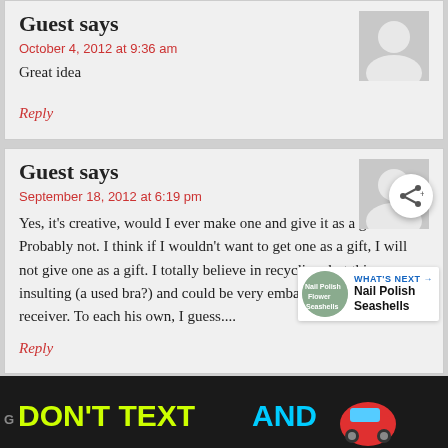Guest says
October 4, 2012 at 9:36 am
Great idea
Reply
Guest says
September 18, 2012 at 6:19 pm
Yes, it's creative, would I ever make one and give it as a gift? Probably not. I think if I wouldn't want to get one as a gift, I will not give one as a gift. I totally believe in recycling, but this seems insulting (a used bra?) and could be very embarrassing for the receiver. To each his own, I guess....
Reply
[Figure (infographic): Advertisement banner: DON'T TEXT AND [car emoji] with ad badge and NHTSA logo on dark background]